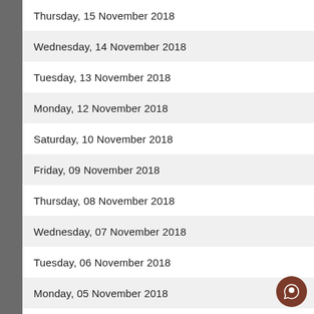Thursday, 15 November 2018
Wednesday, 14 November 2018
Tuesday, 13 November 2018
Monday, 12 November 2018
Saturday, 10 November 2018
Friday, 09 November 2018
Thursday, 08 November 2018
Wednesday, 07 November 2018
Tuesday, 06 November 2018
Monday, 05 November 2018